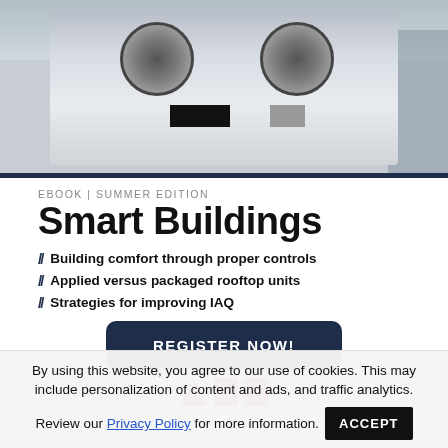[Figure (photo): Rooftop HVAC packaged unit on a building rooftop, with city skyline in background]
EBOOK | SUMMER EDITION
Smart Buildings
// Building comfort through proper controls
// Applied versus packaged rooftop units
// Strategies for improving IAQ
REGISTER NOW!
[Figure (logo): Partial red logo marks visible at bottom of content area]
By using this website, you agree to our use of cookies. This may include personalization of content and ads, and traffic analytics.
Review our Privacy Policy for more information.
ACCEPT